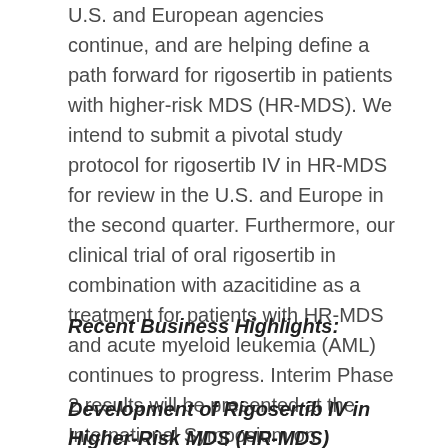U.S. and European agencies continue, and are helping define a path forward for rigosertib in patients with higher-risk MDS (HR-MDS). We intend to submit a pivotal study protocol for rigosertib IV in HR-MDS for review in the U.S. and Europe in the second quarter. Furthermore, our clinical trial of oral rigosertib in combination with azacitidine as a treatment for patients with HR-MDS and acute myeloid leukemia (AML) continues to progress. Interim Phase 2 results will be presented at the International Symposium on Myelodysplastic Syndromes in May."
Recent Business Highlights:
Development of Rigosertib IV in Higher-Risk MDS (HR-MDS)